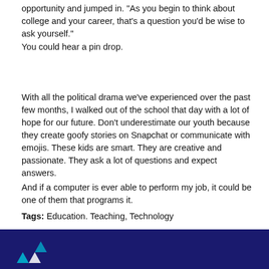opportunity and jumped in. "As you begin to think about college and your career, that's a question you'd be wise to ask yourself."
You could hear a pin drop.
With all the political drama we've experienced over the past few months, I walked out of the school that day with a lot of hope for our future. Don't underestimate our youth because they create goofy stories on Snapchat or communicate with emojis. These kids are smart. They are creative and passionate. They ask a lot of questions and expect answers.
And if a computer is ever able to perform my job, it could be one of them that programs it.
Tags: Education. Teaching, Technology
Comments